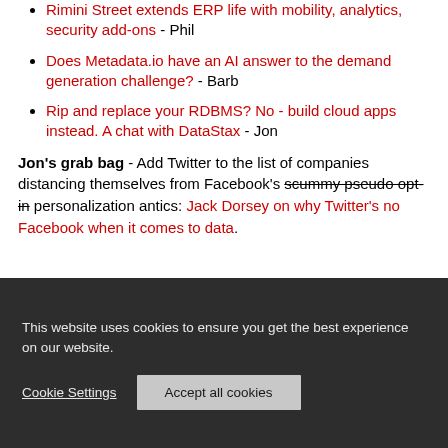Rimini Street extends ERP life with mobility, analytics, security add-ons - Phil
Does Metadata.io have an AI answer to the demand generation challenge? - Barb
Rip and replace your RDBMS? No - build cloud apps instead. A chat with DataStax - Jon
Jon's grab bag - Add Twitter to the list of companies distancing themselves from Facebook's scummy pseudo opt-in personalization antics: Jack Dorsey on why Twitter's no Facebook when it comes to data.
This website uses cookies to ensure you get the best experience on our website.